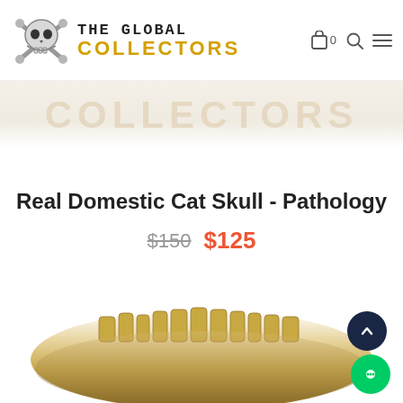[Figure (logo): The Global Collectors logo: skull and crossbones icon with brand name text showing 'THE GLOBAL' in serif/monospace and 'COLLECTORS' in bold gold/yellow sans-serif]
[Figure (other): Faded watermark text reading 'COLLECTORS' in light beige/tan across a banner area]
Real Domestic Cat Skull - Pathology
$150  $125
[Figure (photo): Partial photo of a real domestic cat skull showing jaw/teeth area with yellowish-brown coloration at the bottom of the page]